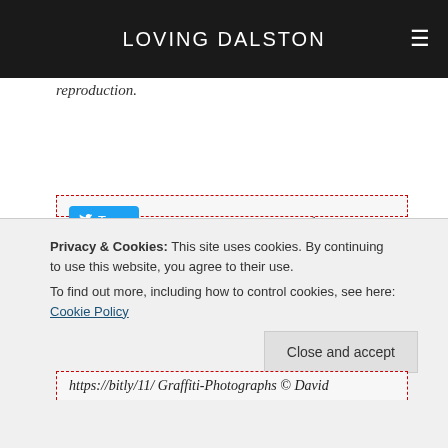LOVING DALSTON
reproduction.
This site welcomes fair comments, including the critical. They may be edited for grammatical, legal or taste reasons, or for shortening. In the unlikely event that anything defamatory is posted, the sender’s details may have to be divulged. (Under UK law, this applies to any comment/discussion forum, eg, Twitter.)
Privacy & Cookies: This site uses cookies. By continuing to use this website, you agree to their use. To find out more, including how to control cookies, see here: Cookie Policy
https://bitly/11/Graffiti-Photographs © David